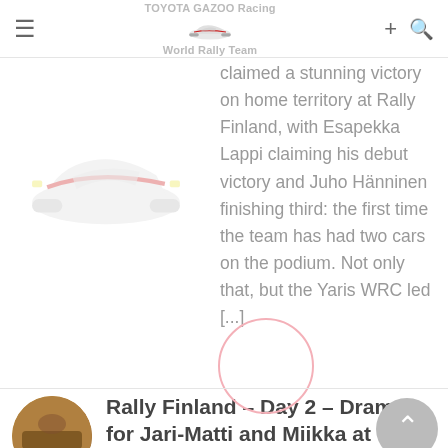TOYOTA GAZOO Racing World Rally Team
claimed a stunning victory on home territory at Rally Finland, with Esapekka Lappi claiming his debut victory and Juho Hänninen finishing third: the first time the team has had two cars on the podium. Not only that, but the Yaris WRC led [...]
Rally Finland – Day 2 – Drama for Jari-Matti and Miikka at